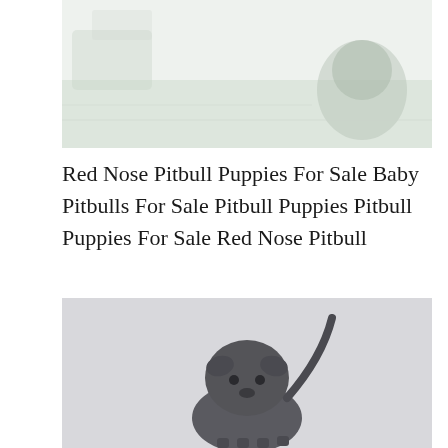[Figure (photo): Faded/washed-out photo of pitbull puppies in a green outdoor setting]
Red Nose Pitbull Puppies For Sale Baby Pitbulls For Sale Pitbull Puppies Pitbull Puppies For Sale Red Nose Pitbull
[Figure (photo): Photo of a dark-colored pitbull puppy standing against a light gray background, tail raised]